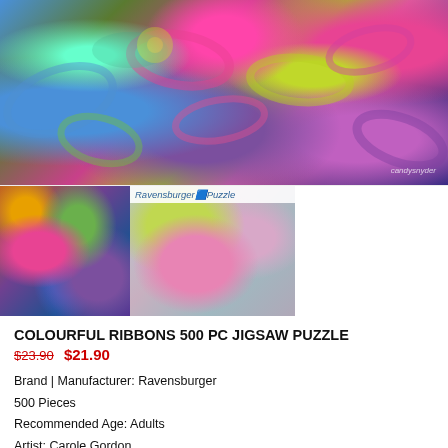[Figure (photo): Large photo of colourful ribbons in blue, green, pink, yellow-green, and purple curled ribbons arranged together]
[Figure (photo): Thumbnail photo of assembled jigsaw puzzle pieces showing colourful ribbons]
[Figure (photo): Thumbnail showing Ravensburger Puzzle box cover with colourful ribbons image]
COLOURFUL RIBBONS 500 PC JIGSAW PUZZLE
$23.90 $21.90
Brand | Manufacturer: Ravensburger
500 Pieces
Recommended Age: Adults
Artist: Carole Gordon
Dimensions: 49.0 cm x 36.0 cm approximately when completed